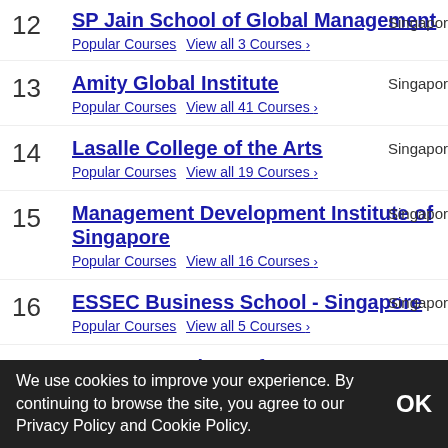12 SP Jain School of Global Management — Popular Courses  View all 3 Courses › — Singapore
13 Amity Global Institute — Popular Courses  View all 41 Courses › — Singapore
14 Lasalle College of the Arts — Popular Courses  View all 19 Courses › — Singapore
15 Management Development Institute of Singapore — Popular Courses  View all 16 Courses › — Singapore
16 ESSEC Business School - Singapore — Popular Courses  View all 5 Courses › — Singapore
17 Nanyang Institute of Management — Singapore
We use cookies to improve your experience. By continuing to browse the site, you agree to our Privacy Policy and Cookie Policy.